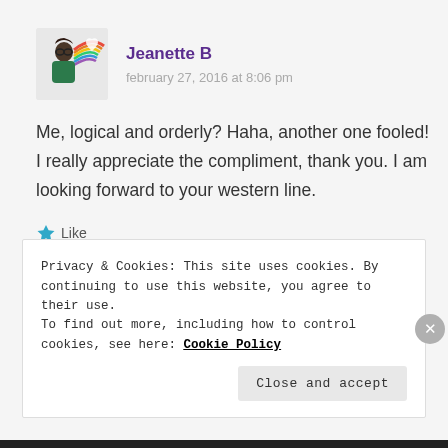[Figure (illustration): Avatar/profile image of Jeanette B — cartoon character with dark hair, glasses, rainbow and heart graphic]
Jeanette B
february 27, 2016 at 8:06 pm
Me, logical and orderly? Haha, another one fooled! I really appreciate the compliment, thank you. I am looking forward to your western line.
★ Like
Reply
Privacy & Cookies: This site uses cookies. By continuing to use this website, you agree to their use.
To find out more, including how to control cookies, see here: Cookie Policy
Close and accept